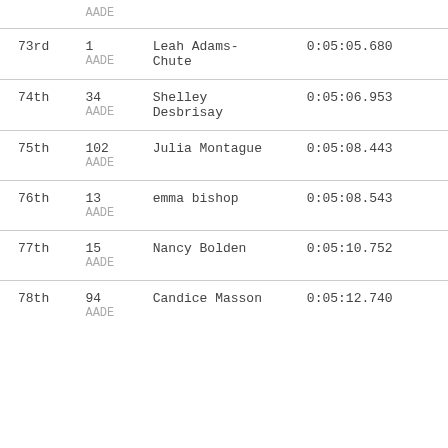| Place | Bib | Name | Time |
| --- | --- | --- | --- |
|  | AADE |  |  |
| 73rd | 1
AADE | Leah Adams-Chute | 0:05:05.680 |
| 74th | 34
AADE | Shelley Desbrisay | 0:05:06.953 |
| 75th | 102
AADE | Julia Montague | 0:05:08.443 |
| 76th | 13
AADE | emma bishop | 0:05:08.543 |
| 77th | 15
AADE | Nancy Bolden | 0:05:10.752 |
| 78th | 94
AADE | Candice Masson | 0:05:12.740 |